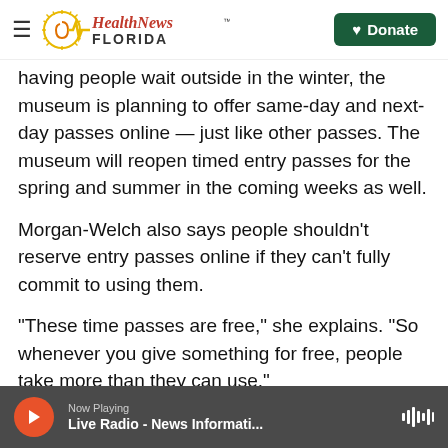Health News Florida — Donate
having people wait outside in the winter, the museum is planning to offer same-day and next-day passes online — just like other passes. The museum will reopen timed entry passes for the spring and summer in the coming weeks as well.
Morgan-Welch also says people shouldn't reserve entry passes online if they can't fully commit to using them.
"These time passes are free," she explains. "So whenever you give something for free, people take more than they can use."
Now Playing — Live Radio - News Informati...